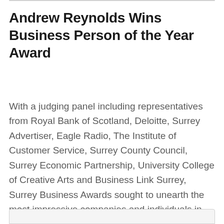Andrew Reynolds Wins Business Person of the Year Award
With a judging panel including representatives from Royal Bank of Scotland, Deloitte, Surrey Advertiser, Eagle Radio, The Institute of Customer Service, Surrey County Council, Surrey Economic Partnership, University College of Creative Arts and Business Link Surrey, Surrey Business Awards sought to unearth the most impressive companies and individuals in their categories – those who fulfilled […]